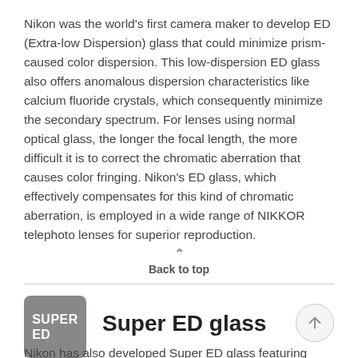Nikon was the world's first camera maker to develop ED (Extra-low Dispersion) glass that could minimize prism-caused color dispersion. This low-dispersion ED glass also offers anomalous dispersion characteristics like calcium fluoride crystals, which consequently minimize the secondary spectrum. For lenses using normal optical glass, the longer the focal length, the more difficult it is to correct the chromatic aberration that causes color fringing. Nikon's ED glass, which effectively compensates for this kind of chromatic aberration, is employed in a wide range of NIKKOR telephoto lenses for superior reproduction.
Back to top
Super ED glass
Nikon has also developed Super ED glass featuring even